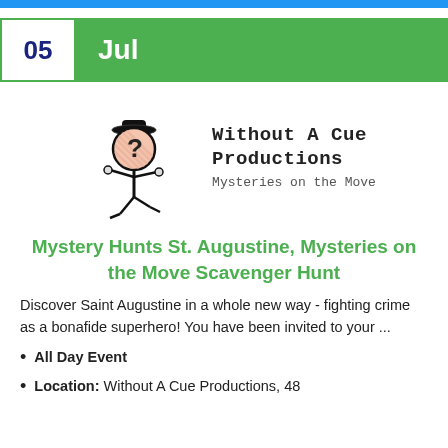05 Jul
[Figure (logo): Without A Cue Productions logo: animated stick figure with question mark face wearing bowler hat, running. Text reads 'Without A Cue Productions / Mysteries on the Move' in monospace font.]
Mystery Hunts St. Augustine, Mysteries on the Move Scavenger Hunt
Discover Saint Augustine in a whole new way - fighting crime as a bonafide superhero! You have been invited to your ...
All Day Event
Location: Without A Cue Productions, 48